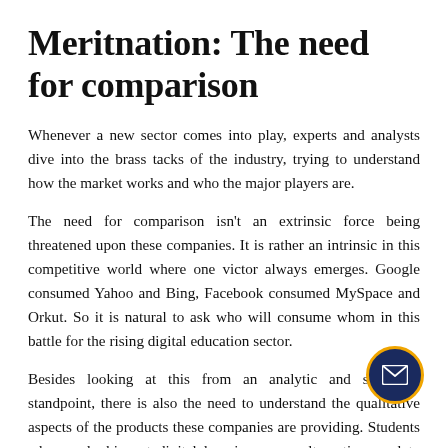Meritnation: The need for comparison
Whenever a new sector comes into play, experts and analysts dive into the brass tacks of the industry, trying to understand how the market works and who the major players are.
The need for comparison isn't an extrinsic force being threatened upon these companies. It is rather an intrinsic in this competitive world where one victor always emerges. Google consumed Yahoo and Bing, Facebook consumed MySpace and Orkut. So it is natural to ask who will consume whom in this battle for the rising digital education sector.
Besides looking at this from an analytic and statistical standpoint, there is also the need to understand the qualitative aspects of the products these companies are providing. Students who are looking at digital learning as an alternative need to know and understand the